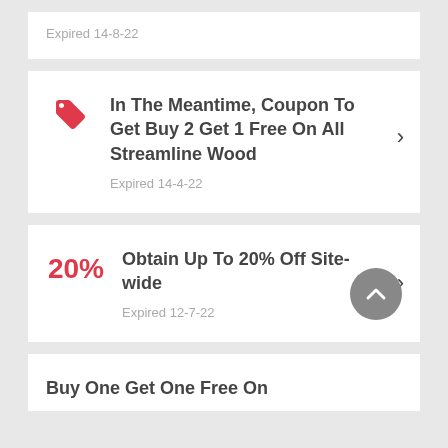Expired 14-8-22
In The Meantime, Coupon To Get Buy 2 Get 1 Free On All Streamline Wood
Expired 14-4-22
Obtain Up To 20% Off Site-wide
Expired 12-7-22
Buy One Get One Free On